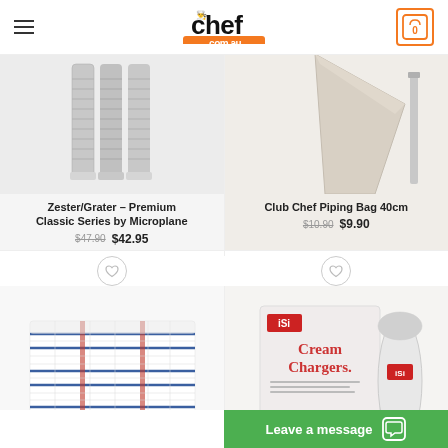[Figure (screenshot): chef.com.au website header with hamburger menu, logo and cart button showing 0 items]
[Figure (photo): Zester/Grater Premium Classic Series by Microplane product image showing three metallic graters]
Zester/Grater – Premium Classic Series by Microplane
$47.90  $42.95
[Figure (photo): Club Chef Piping Bag 40cm product image showing a piping bag on light background]
Club Chef Piping Bag 40cm
$10.90  $9.90
[Figure (photo): Checkered kitchen tea towels, blue and red grid pattern, folded stack]
[Figure (photo): iSi Cream Chargers box of 10 with white cream charger canister on white/pink box]
Leave a message